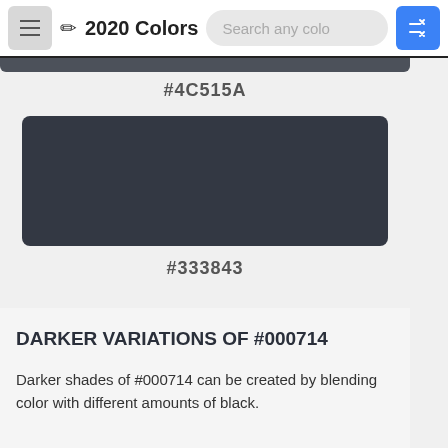2020 Colors
#4C515A
[Figure (other): Dark navy-gray color swatch #333843]
#333843
DARKER VARIATIONS OF #000714
Darker shades of #000714 can be created by blending color with different amounts of black.